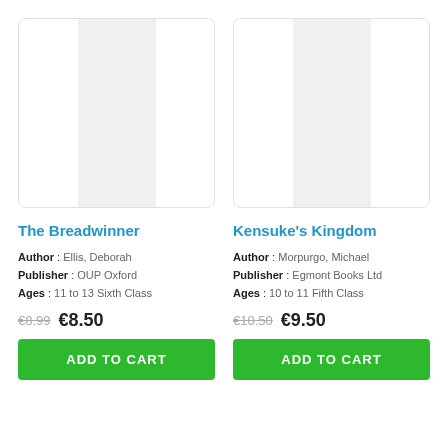[Figure (illustration): Book cover placeholder for The Breadwinner — white card with gray center stripe]
The Breadwinner
Author : Ellis, Deborah
Publisher : OUP Oxford
Ages : 11 to 13 Sixth Class
€8.99  €8.50
ADD TO CART
[Figure (illustration): Book cover placeholder for Kensuke's Kingdom — white card with gray center stripe]
Kensuke's Kingdom
Author : Morpurgo, Michael
Publisher : Egmont Books Ltd
Ages : 10 to 11 Fifth Class
€10.50  €9.50
ADD TO CART